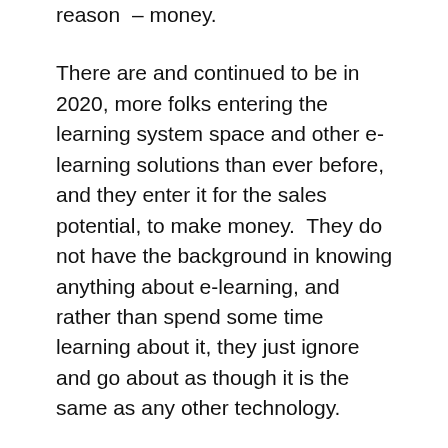reason – money.
There are and continued to be in 2020, more folks entering the learning system space and other e-learning solutions than ever before, and they enter it for the sales potential, to make money.  They do not have the background in knowing anything about e-learning, and rather than spend some time learning about it, they just ignore and go about as though it is the same as any other technology.
This is clearly visible in the second-worst thing visible in 2020, the failure to know the difference between L&D and Training, and if you can dig even deeper, the assumption that L&D is the only game in town, and that